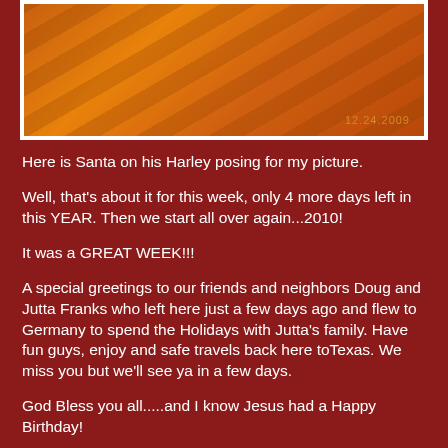[Figure (photo): Orange-tinted nighttime photograph showing what appears to be a road or parking area with shadows, dated 12.24.2009 in the bottom right corner]
Here is Santa on his Harley posing for my picture.
Well, that's about it for this week, only 4 more days left in this YEAR. Then we start all over again...2010!
It was a GREAT WEEK!!!
A special greetings to our friends and neighbors Doug and Jutta Franks who left here just a few days ago and flew to Germany to spend the Holidays with Jutta's family. Have fun guys, enjoy and safe travels back here toTexas. We miss you but we'll see ya in a few days.
God Bless you all.....and I know Jesus had a Happy Birthday!